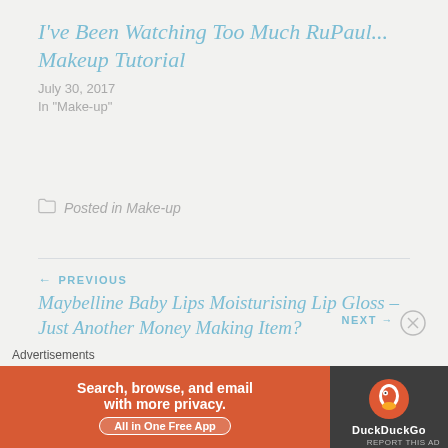I've Been Watching Too Much RuPaul... Makeup Tutorial
July 30, 2017
In "Make-up"
Posted in Make-up
← PREVIOUS
Maybelline Baby Lips Moisturising Lip Gloss – Just Another Money Making Item?
NEXT →
[Figure (other): DuckDuckGo advertisement banner: orange background on left with text 'Search, browse, and email with more privacy. All in One Free App', dark grey background on right with DuckDuckGo logo and brand name.]